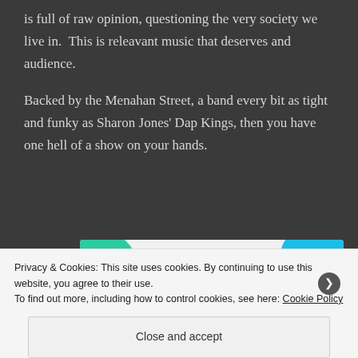is full of raw opinion, questioning the very society we live in.  This is releavant music that deserves and audience.
Backed by the Menahan Street, a band every bit as tight and funky as Sharon Jones' Dap Kings, then you have one hell of a show on your hands.
[Figure (illustration): Advertisement banner with green and blue decorative blobs and bold text reading 'How to start selling subscriptions online']
Privacy & Cookies: This site uses cookies. By continuing to use this website, you agree to their use.
To find out more, including how to control cookies, see here: Cookie Policy
Close and accept